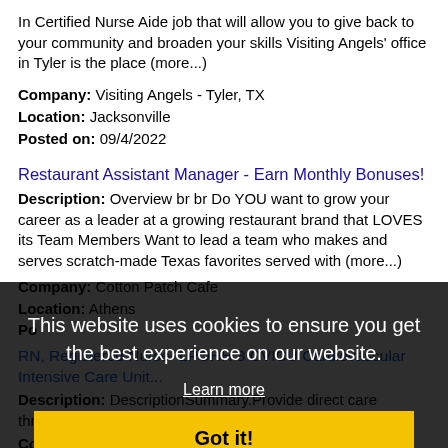In Certified Nurse Aide job that will allow you to give back to your community and broaden your skills Visiting Angels' office in Tyler is the place (more...)
Company: Visiting Angels - Tyler, TX
Location: Jacksonville
Posted on: 09/4/2022
Restaurant Assistant Manager - Earn Monthly Bonuses!
Description: Overview br br Do YOU want to grow your career as a leader at a growing restaurant brand that LOVES its Team Members Want to lead a team who makes and serves scratch-made Texas favorites served with (more...)
Company: Cotton Patch Cafe
Location: Athens
Po...
RN, Registered Nurse- LPOHH 3 CVICU Cardiovascular Intensive Care Unit...
Description: DescriptionSummary.Provide direct care through compassion, excellence
Company: CHRISTUS Health
Location: Tyler
Posted on: 09/4/2022
This website uses cookies to ensure you get the best experience on our website.
Learn more
Got it!